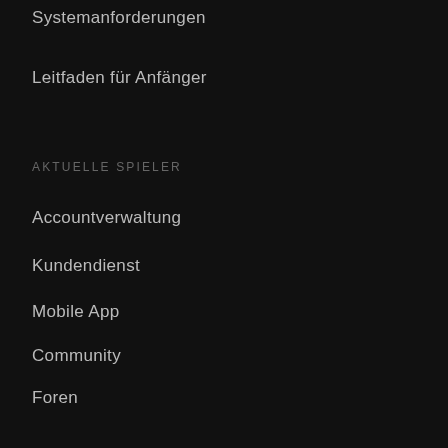Systemanforderungen
Leitfaden für Anfänger
AKTUELLE SPIELER
Accountverwaltung
Kundendienst
Mobile App
Community
Foren
Entwickler
Freunde rekrutieren